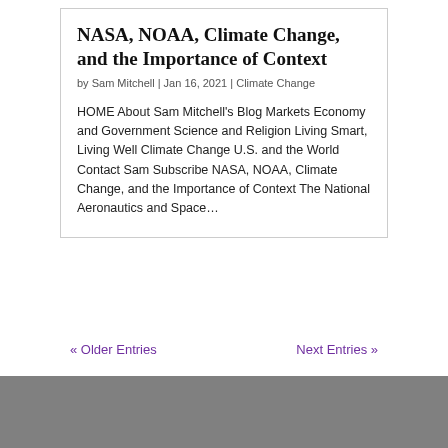NASA, NOAA, Climate Change, and the Importance of Context
by Sam Mitchell | Jan 16, 2021 | Climate Change
HOME About Sam Mitchell's Blog Markets Economy and Government Science and Religion Living Smart, Living Well Climate Change U.S. and the World Contact Sam Subscribe NASA, NOAA, Climate Change, and the Importance of Context The National Aeronautics and Space…
« Older Entries
Next Entries »